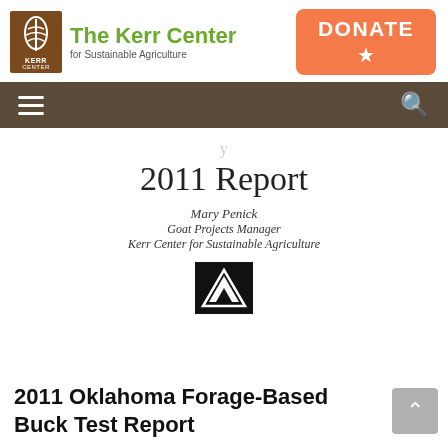[Figure (logo): The Kerr Center for Sustainable Agriculture logo with brown box and green text]
[Figure (other): Orange DONATE button with star icon]
[Figure (other): Dark brown navigation bar with hamburger menu and search icon]
2011 Report
Mary Penick
Goat Projects Manager
Kerr Center for Sustainable Agriculture
[Figure (logo): Small black square logo with white mountain/triangle icon]
2011 Oklahoma Forage-Based Buck Test Report